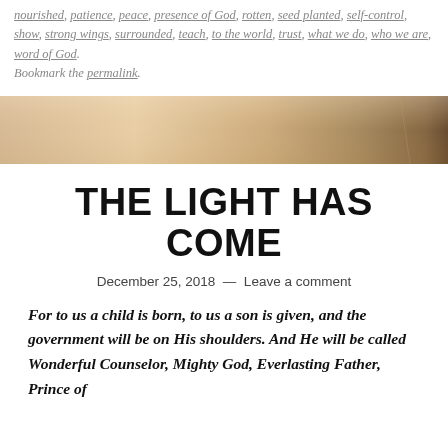nourished, patience, peace, presence of God, rotten, seed planted, self-control, show, strong wings, surrounded, teach, to the world, trust, what we do, who we are, word of God. Bookmark the permalink.
[Figure (photo): Horizontal banner image with warm golden and beige tones fading to a darker right edge, suggesting a sunrise or abstract background photograph.]
THE LIGHT HAS COME
December 25, 2018 — Leave a comment
For to us a child is born, to us a son is given, and the government will be on His shoulders. And He will be called Wonderful Counselor, Mighty God, Everlasting Father, Prince of